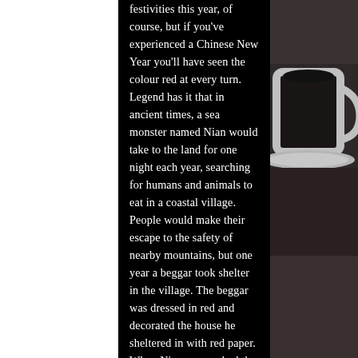festivities this year, of course, but if you've experienced a Chinese New Year you'll have seen the colour red at every turn. Legend has it that in ancient times, a sea monster named Nian would take to the land for one night each year, searching for humans and animals to eat in a coastal village. People would make their escape to the safety of nearby mountains, but one year a beggar took shelter in the village. The beggar was dressed in red and decorated the house he sheltered in with red paper. When Nian approached the house the beggar set off firecrackers, and the combination of the loud noise and the colour red was enough to make the monster run away. This is why Chinese families wear red
[Figure (photo): Dark background photo showing a white ceramic cup or mug, likely containing a dark beverage, placed on a saucer. The image is darkly lit with a brown/dark background, only the right portion of the page.]